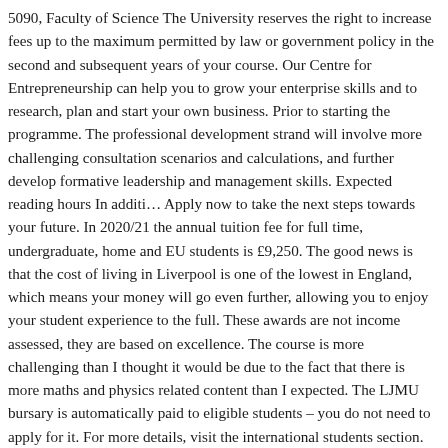5090, Faculty of Science The University reserves the right to increase fees up to the maximum permitted by law or government policy in the second and subsequent years of your course. Our Centre for Entrepreneurship can help you to grow your enterprise skills and to research, plan and start your own business. Prior to starting the programme. The professional development strand will involve more challenging consultation scenarios and calculations, and further develop formative leadership and management skills. Expected reading hours In additi… Apply now to take the next steps towards your future. In 2020/21 the annual tuition fee for full time, undergraduate, home and EU students is £9,250. The good news is that the cost of living in Liverpool is one of the lowest in England, which means your money will go even further, allowing you to enjoy your student experience to the full. These awards are not income assessed, they are based on excellence. The course is more challenging than I thought it would be due to the fact that there is more maths and physics related content than I expected. The LJMU bursary is automatically paid to eligible students – you do not need to apply for it. For more details, visit the international students section.